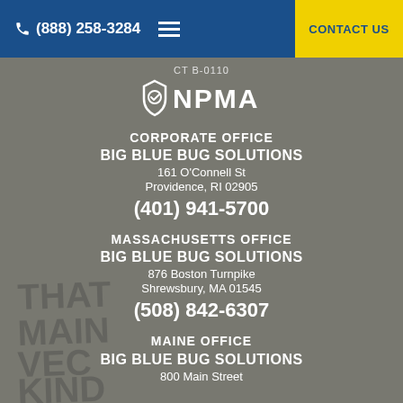(888) 258-3284  CONTACT US
CT B-0110
[Figure (logo): NPMA logo - shield icon with house and person, white on dark background]
CORPORATE OFFICE
BIG BLUE BUG SOLUTIONS
161 O'Connell St
Providence, RI 02905
(401) 941-5700
MASSACHUSETTS OFFICE
BIG BLUE BUG SOLUTIONS
876 Boston Turnpike
Shrewsbury, MA 01545
(508) 842-6307
MAINE OFFICE
BIG BLUE BUG SOLUTIONS
800 Main Street